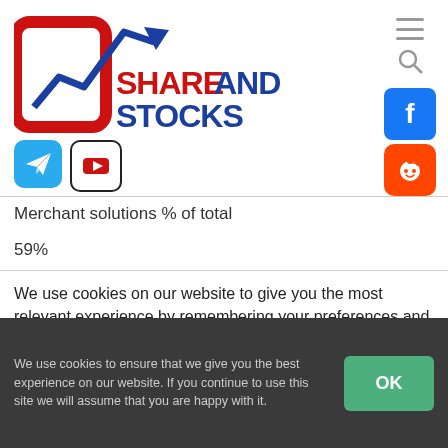[Figure (logo): ShareAndStocks logo with red bracket, blue arrow chart, red and blue SHAREANDSTOCKS text, Facebook, Reddit, Telegram, YouTube social icons]
Merchant solutions % of total
59%
We use cookies on our website to give you the most relevant experience by remembering your preferences and repeat visits. By clicking “Accept All”, you consent to the use of ALL the cookies. However, you may visit
We use cookies to ensure that we give you the best experience on our website. If you continue to use this site we will assume that you are happy with it.